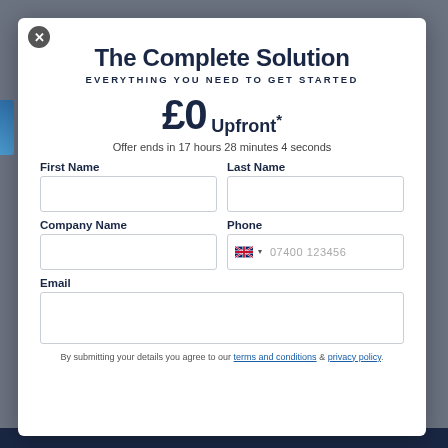The Complete Solution
EVERYTHING YOU NEED TO GET STARTED
£0 Upfront*
Offer ends in 17 hours 28 minutes 4 seconds
First Name
Last Name
Company Name
Phone
07400 123456
Email
By submitting your details you agree to our terms and conditions & privacy policy.